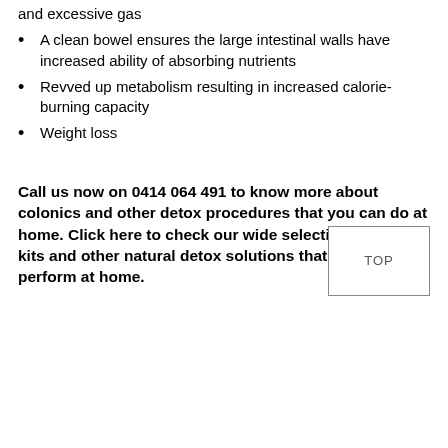and excessive gas
A clean bowel ensures the large intestinal walls have increased ability of absorbing nutrients
Revved up metabolism resulting in increased calorie-burning capacity
Weight loss
Call us now on 0414 064 491 to know more about colonics and other detox procedures that you can do at home. Click here to check our wide selection of enema kits and other natural detox solutions that you can perform at home.